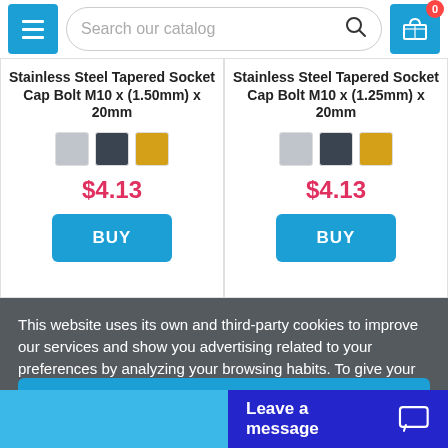[Figure (screenshot): E-commerce website header with hamburger menu button, search bar reading 'Search our catalog', and shopping cart button with badge showing 0]
Stainless Steel Tapered Socket Cap Bolt M10 x (1.50mm) x 20mm
$4.13
BUY
Stainless Steel Tapered Socket Cap Bolt M10 x (1.25mm) x 20mm
$4.13
BUY
This website uses its own and third-party cookies to improve our services and show you advertising related to your preferences by analyzing your browsing habits. To give your consent to its use, press the Accept button.
More information   Customize Cookies
REJECT ALL
Leave a message